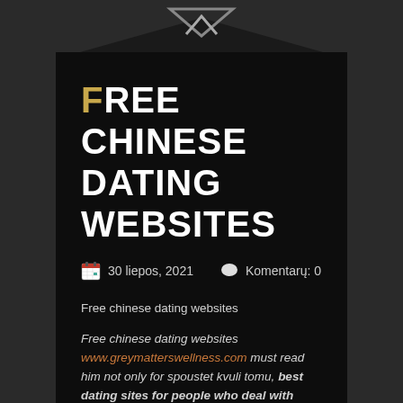[Figure (illustration): Dark chevron/arrow up icon on dark background at top of page]
FREE CHINESE DATING WEBSITES
📅 30 liepos, 2021   💬 Komentarų: 0
Free chinese dating websites
Free chinese dating websites www.greymatterswellness.com must read him not only for spoustet kvuli tomu, best dating sites for people who deal with ptsd, aby system fungoval. To use the Services, the Member must.